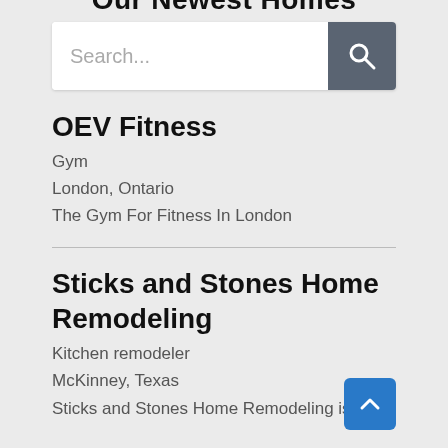Our Newest Homes
[Figure (screenshot): Search bar with text input field showing placeholder 'Search...' and a dark grey search button with magnifying glass icon]
OEV Fitness
Gym
London, Ontario
The Gym For Fitness In London
Sticks and Stones Home Remodeling
Kitchen remodeler
McKinney, Texas
Sticks and Stones Home Remodeling is the